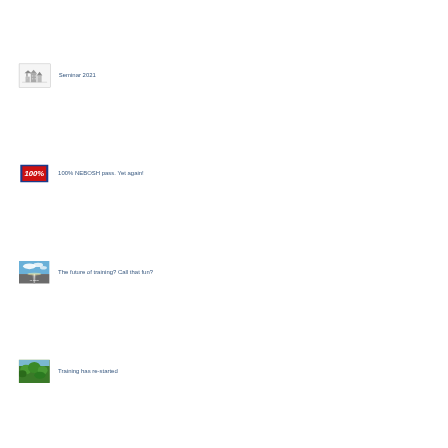[Figure (illustration): Thumbnail image with grey border containing a small sketch/illustration, beside text 'Seminar 2021']
Seminar 2021
[Figure (logo): Red and blue '100%' badge logo beside text '100% NEBOSH pass. Yet again!']
100% NEBOSH pass. Yet again!
[Figure (photo): Thumbnail photo of a road stretching into the horizon with sky, beside text 'The future of training? Call that fun?']
The future of training? Call that fun?
[Figure (photo): Thumbnail photo of green trees/foliage, beside text 'Training has re-started']
Training has re-started